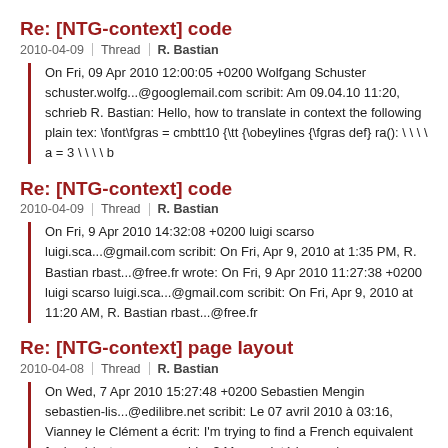Re: [NTG-context] code
2010-04-09 | Thread | R. Bastian
On Fri, 09 Apr 2010 12:00:05 +0200 Wolfgang Schuster schuster.wolfg...@googlemail.com scribit: Am 09.04.10 11:20, schrieb R. Bastian: Hello, how to translate in context the following plain tex: \font\fgras = cmbtt10 {\tt {\obeylines {\fgras def} ra(): \ \ \ \ a = 3 \ \ \ \ b
Re: [NTG-context] code
2010-04-09 | Thread | R. Bastian
On Fri, 9 Apr 2010 14:32:08 +0200 luigi scarso luigi.sca...@gmail.com scribit: On Fri, Apr 9, 2010 at 1:35 PM, R. Bastian rbast...@free.fr wrote: On Fri, 9 Apr 2010 11:27:38 +0200 luigi scarso luigi.sca...@gmail.com scribit: On Fri, Apr 9, 2010 at 11:20 AM, R. Bastian rbast...@free.fr
Re: [NTG-context] page layout
2010-04-08 | Thread | R. Bastian
On Wed, 7 Apr 2010 15:27:48 +0200 Sebastien Mengin sebastien-lis...@edilibre.net scribit: Le 07 avril 2010 à 03:16, Vianney le Clément a écrit: I'm trying to find a French equivalent for back/autopage... any idea? Marges intérieures /